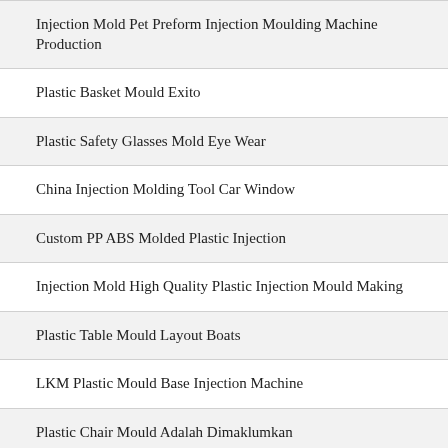Injection Mold Pet Preform Injection Moulding Machine Production
Plastic Basket Mould Exito
Plastic Safety Glasses Mold Eye Wear
China Injection Molding Tool Car Window
Custom PP ABS Molded Plastic Injection
Injection Mold High Quality Plastic Injection Mould Making
Plastic Table Mould Layout Boats
LKM Plastic Mould Base Injection Machine
Plastic Chair Mould Adalah Dimaklumkan
Injection Mold Cellphone Cover Plastic Injection Mold Maker